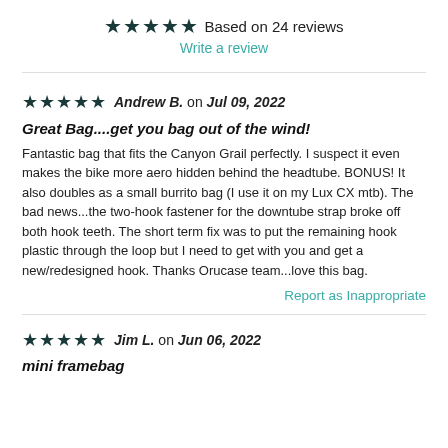★★★★★ Based on 24 reviews
Write a review
★★★★★ Andrew B. on Jul 09, 2022
Great Bag....get you bag out of the wind!
Fantastic bag that fits the Canyon Grail perfectly. I suspect it even makes the bike more aero hidden behind the headtube. BONUS! It also doubles as a small burrito bag (I use it on my Lux CX mtb). The bad news...the two-hook fastener for the downtube strap broke off both hook teeth. The short term fix was to put the remaining hook plastic through the loop but I need to get with you and get a new/redesigned hook. Thanks Orucase team...love this bag.
Report as Inappropriate
★★★★★ Jim L. on Jun 06, 2022
mini framebag